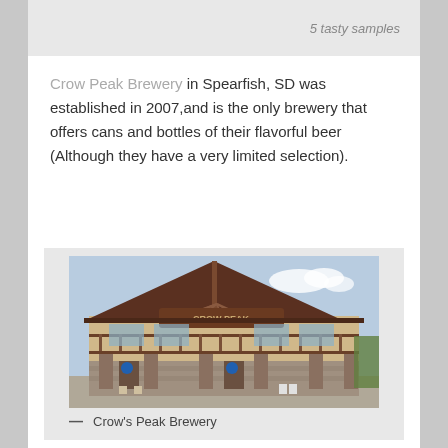[Figure (photo): Top portion of a previous image showing text '5 tasty samples' partially visible]
Crow Peak Brewery in Spearfish, SD was established in 2007,and is the only brewery that offers cans and bottles of their flavorful beer (Although they have a very limited selection).
[Figure (photo): Exterior photo of Crow Peak Brewery building in Spearfish SD - a two-story rustic wooden structure with a large A-frame roof, covered porch/balcony, stone pillars on the ground floor, and a sign reading 'CROW PEAK' above the entrance.]
— Crow's Peak Brewery